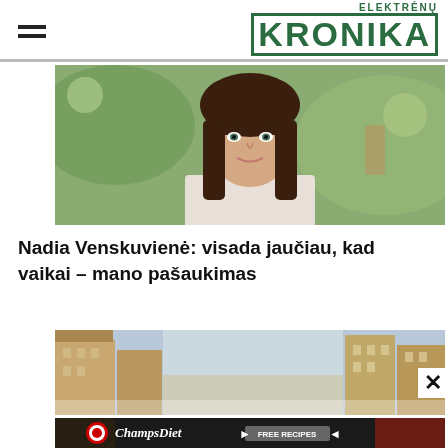Elektrėnų Kronika
[Figure (photo): Portrait photo of a woman with brown straight hair and bangs, smiling, with a blurred outdoor background]
Nadia Venskuvienė: visada jaučiau, kad vaikai – mano pašaukimas
[Figure (photo): Partial cityscape photo showing buildings, partially obscured by a close button overlay]
[Figure (photo): Advertisement banner for ChampsDiet with FREE RECIPES button, showing food items on dark background]